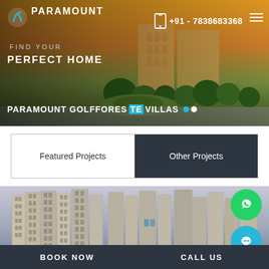[Figure (photo): Hero banner showing a real estate development with landscaped garden roundabout, buildings, trees at sunset. Paramount logo and phone number overlay.]
PARAMOUNT
FIND YOUR
PERFECT HOME
PARAMOUNT GOLFFORESTE VILLAS
+91 - 7838683368
| Featured Projects | Other Projects |
| --- | --- |
[Figure (photo): High-rise apartment towers in a cluster, grey sky, urban real estate development.]
BOOK NOW
CALL US